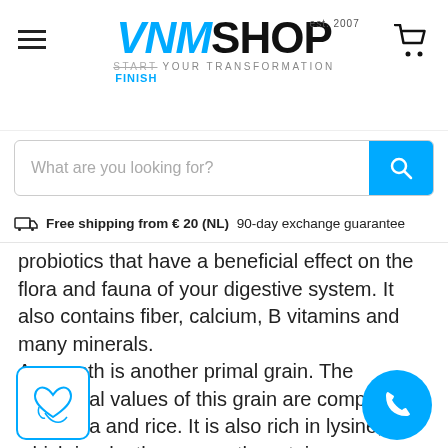[Figure (logo): VNM SHOP logo with est. 2007, tagline START YOUR TRANSFORMATION / FINISH, hamburger menu icon, and shopping cart icon]
[Figure (screenshot): Search bar with placeholder 'What are you looking for?' and blue search button]
Free shipping from € 20 (NL) 90-day exchange guarantee
probiotics that have a beneficial effect on the flora and fauna of your digestive system. It also contains fiber, calcium, B vitamins and many minerals.
Amaranth is another primal grain. The nutritional values of this grain are comparable to quinoa and rice. It is also rich in lysine, which is why the amaranth proteins are a perfect addition to the other proteins.
[Figure (illustration): Hand with heart icon in teal circle border]
[Figure (illustration): Phone/call icon in solid cyan/teal circle]